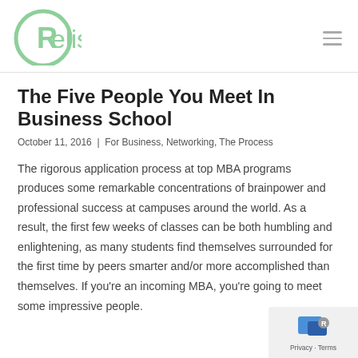Relish
The Five People You Meet In Business School
October 11, 2016  |  For Business, Networking, The Process
The rigorous application process at top MBA programs produces some remarkable concentrations of brainpower and professional success at campuses around the world. As a result, the first few weeks of classes can be both humbling and enlightening, as many students find themselves surrounded for the first time by peers smarter and/or more accomplished than themselves. If you're an incoming MBA, you're going to meet some impressive people.